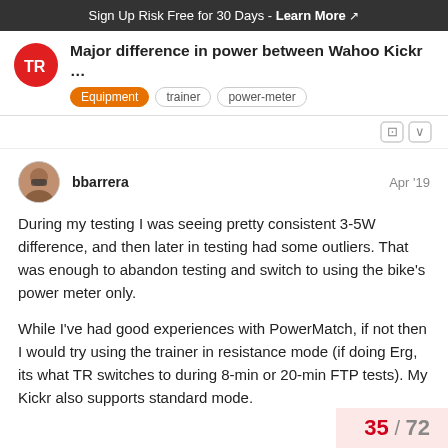Sign Up Risk Free for 30 Days - Learn More ↗
Major difference in power between Wahoo Kickr …
Equipment  trainer  power-meter
bbarrera   Apr '19
During my testing I was seeing pretty consistent 3-5W difference, and then later in testing had some outliers. That was enough to abandon testing and switch to using the bike's power meter only.

While I've had good experiences with PowerMatch, if not then I would try using the trainer in resistance mode (if doing Erg, its what TR switches to during 8-min or 20-min FTP tests). My Kickr also supports standard mode.
35 / 72